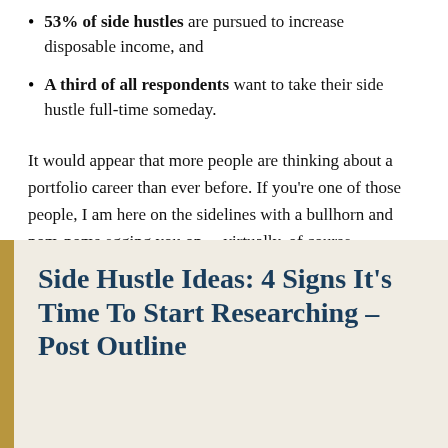53% of side hustles are pursued to increase disposable income, and
A third of all respondents want to take their side hustle full-time someday.
It would appear that more people are thinking about a portfolio career than ever before. If you're one of those people, I am here on the sidelines with a bullhorn and pom-poms egging you on... virtually, of course.
Side Hustle Ideas: 4 Signs It's Time To Start Researching – Post Outline